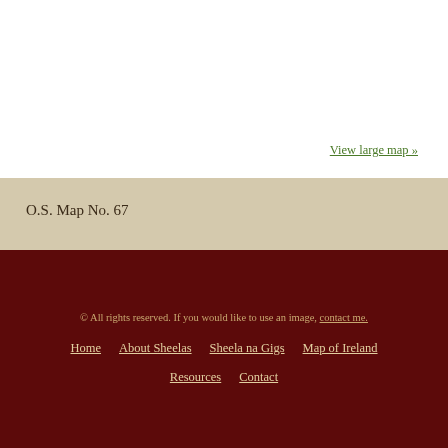[Figure (other): White map area at top of page with 'View large map »' link]
View large map »
O.S. Map No. 67
Grid Reference No. S 21/35
Holiday Map East
Fethard lies 15k SE of Cashel and 37k SW of Kilkenny
© All rights reserved. If you would like to use an image, contact me.
Home   About Sheelas   Sheela na Gigs   Map of Ireland
Resources   Contact